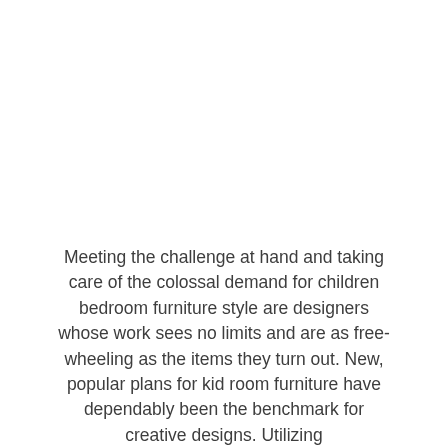Meeting the challenge at hand and taking care of the colossal demand for children bedroom furniture style are designers whose work sees no limits and are as free-wheeling as the items they turn out. New, popular plans for kid room furniture have dependably been the benchmark for creative designs. Utilizing